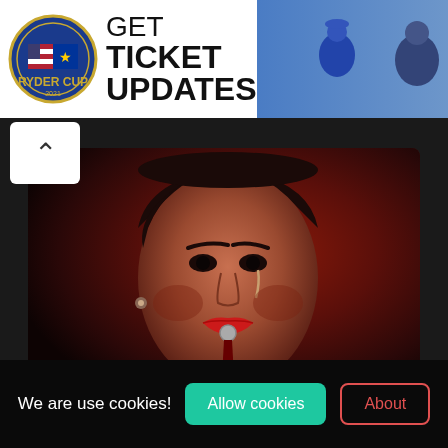[Figure (illustration): Ryder Cup advertisement banner: GET TICKET UPDATES with logo and golfer photo]
[Figure (photo): Dark dramatic photo of a woman with red lips and dark makeup, something metallic in her mouth with dark liquid dripping]
Return on August, 2022
We are use cookies!
Allow cookies
About